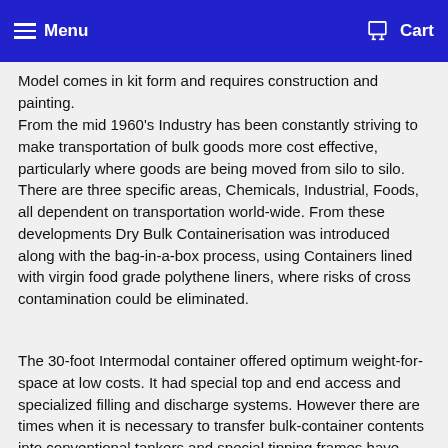Menu   Cart
Model comes in kit form and requires construction and painting.
From the mid 1960’s Industry has been constantly striving to make transportation of bulk goods more cost effective, particularly where goods are being moved from silo to silo. There are three specific areas, Chemicals, Industrial, Foods, all dependent on transportation world-wide. From these developments Dry Bulk Containerisation was introduced along with the bag-in-a-box process, using Containers lined with virgin food grade polythene liners, where risks of cross contamination could be eliminated.
The 30-foot Intermodal container offered optimum weight-for-space at low costs. It had special top and end access and specialized filling and discharge systems. However there are times when it is necessary to transfer bulk-container contents into conventional tankers and special tipping frames have been